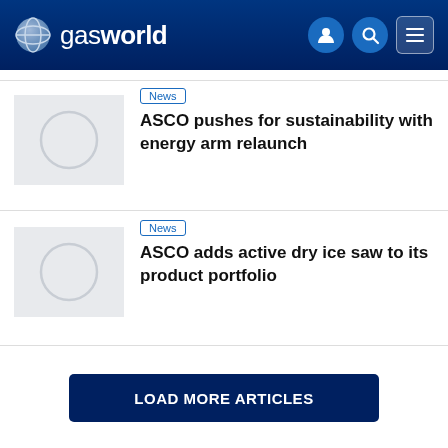gasworld
[Figure (screenshot): Placeholder thumbnail image with grey background and circle outline for first news article]
News
ASCO pushes for sustainability with energy arm relaunch
[Figure (screenshot): Placeholder thumbnail image with grey background and circle outline for second news article]
News
ASCO adds active dry ice saw to its product portfolio
LOAD MORE ARTICLES